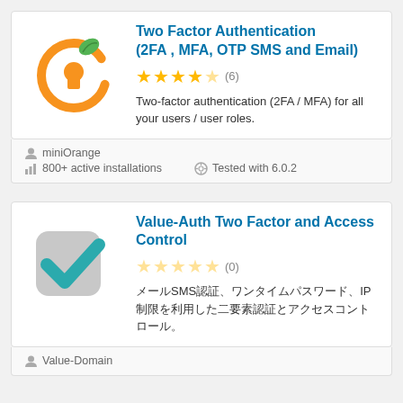[Figure (logo): miniOrange two-factor authentication plugin logo: orange circular arrow with keyhole and green leaf]
Two Factor Authentication (2FA , MFA, OTP SMS and Email)
★★★★☆ (6)
Two-factor authentication (2FA / MFA) for all your users / user roles.
miniOrange
800+ active installations
Tested with 6.0.2
[Figure (logo): Value-Auth plugin logo: grey rounded square with teal checkmark]
Value-Auth Two Factor and Access Control
☆☆☆☆☆ (0)
SMS・IPによる二要素認証とアクセスコントロール
Value-Domain